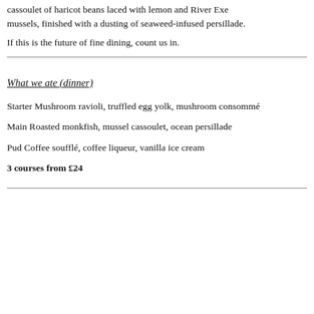cassoulet of haricot beans laced with lemon and River Exe mussels, finished with a dusting of seaweed-infused persillade.
If this is the future of fine dining, count us in.
What we ate (dinner)
Starter Mushroom ravioli, truffled egg yolk, mushroom consommé
Main Roasted monkfish, mussel cassoulet, ocean persillade
Pud Coffee soufflé, coffee liqueur, vanilla ice cream
3 courses from £24